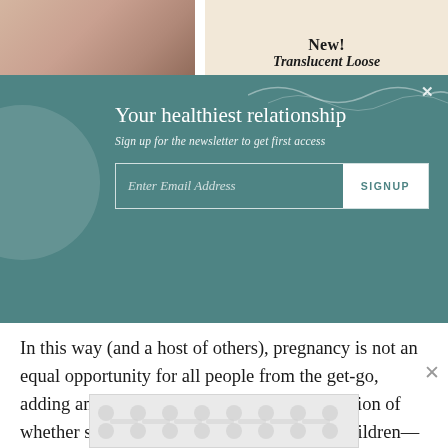[Figure (photo): Top banner with hand/mug photo on left and product advertisement on right showing 'New! Translucent Loose' text on cream background]
Your healthiest relationship
Sign up for the newsletter to get first access
Enter Email Address | SIGNUP
In this way (and a host of others), pregnancy is not an equal opportunity for all people from the get-go, adding another layer to the complicated question of whether someone chooses or plans to have children—that is, another reason not to ask someone the question at all.
[Figure (other): Advertisement placeholder with decorative dot pattern]